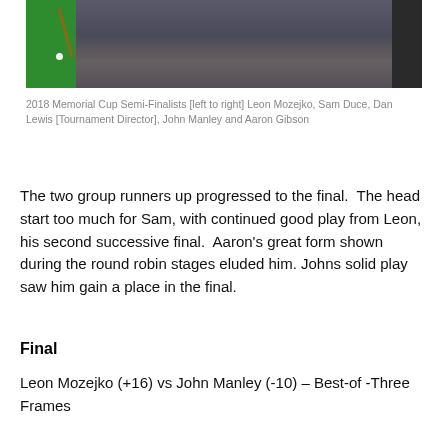[Figure (photo): Group photo of snooker players standing together, a green snooker table visible on the left with a white ball and cue.]
2018 Memorial Cup Semi-Finalists [left to right] Leon Mozejko, Sam Duce, Dan Lewis [Tournament Director], John Manley and Aaron Gibson
The two group runners up progressed to the final.  The head start too much for Sam, with continued good play from Leon, his second successive final.  Aaron’s great form shown during the round robin stages eluded him. Johns solid play saw him gain a place in the final.
Final
Leon Mozejko (+16) vs John Manley (-10) – Best-of -Three Frames